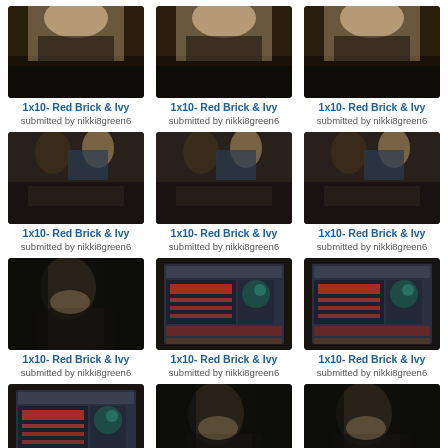[Figure (photo): Grid of 12 TV show thumbnails all labeled 1x10- Red Brick & Ivy, submitted by nikki8green6]
1x10- Red Brick & Ivy
submitted by nikki8green6
1x10- Red Brick & Ivy
submitted by nikki8green6
1x10- Red Brick & Ivy
submitted by nikki8green6
1x10- Red Brick & Ivy
submitted by nikki8green6
1x10- Red Brick & Ivy
submitted by nikki8green6
1x10- Red Brick & Ivy
submitted by nikki8green6
1x10- Red Brick & Ivy
submitted by nikki8green6
1x10- Red Brick & Ivy
submitted by nikki8green6
1x10- Red Brick & Ivy
submitted by nikki8green6
1x10- Red Brick & Ivy
submitted by nikki8green6
1x10- Red Brick & Ivy
submitted by nikki8green6
1x10- Red Brick & Ivy
submitted by nikki8green6